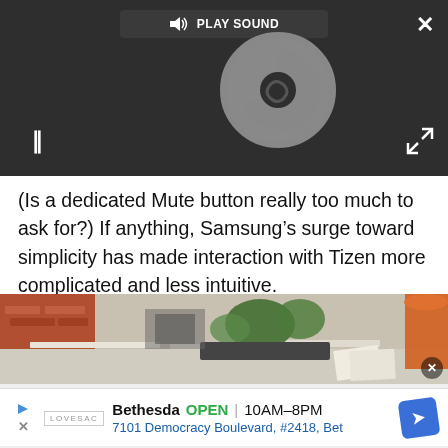[Figure (screenshot): Video player UI with dark background showing a loading spinner, pause button (II), a 'PLAY SOUND' button with speaker icon at top, a close X button top-right, and an expand icon bottom-right]
(Is a dedicated Mute button really too much to ask for?) If anything, Samsung’s surge toward simplicity has made interaction with Tizen more complicated and less intuitive.
[Figure (photo): Outdoor patio/restaurant scene with brick wall, green plants, tables with white tablecloths, and orange umbrella on right]
Bethesda   OPEN  10AM–8PM
7101 Democracy Boulevard, #2418, Bet